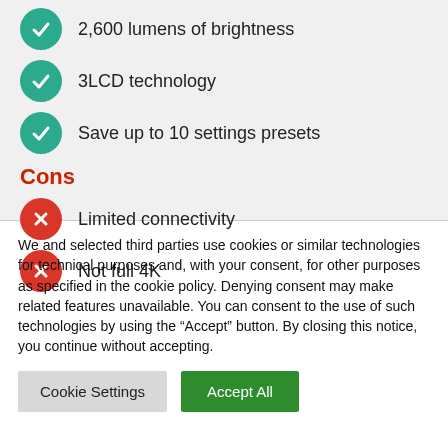2,600 lumens of brightness
3LCD technology
Save up to 10 settings presets
Cons
Limited connectivity
Not full 4K
We and selected third parties use cookies or similar technologies for technical purposes and, with your consent, for other purposes as specified in the cookie policy. Denying consent may make related features unavailable. You can consent to the use of such technologies by using the “Accept” button. By closing this notice, you continue without accepting.
Cookie Settings | Accept All